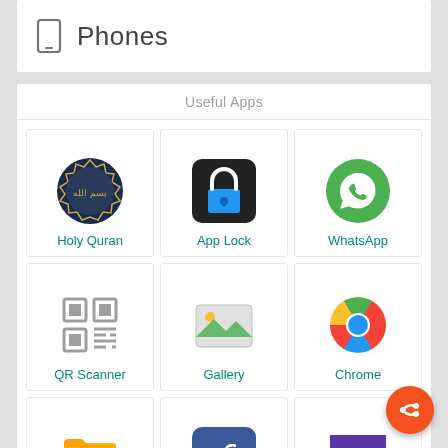Phones
Useful Apps
[Figure (screenshot): Grid of app icons: Holy Quran, App Lock, WhatsApp, QR Scanner, Gallery, Chrome, File Manager, Facebook, Wallpapers, ES Explorer, MX Player, Hide Media]